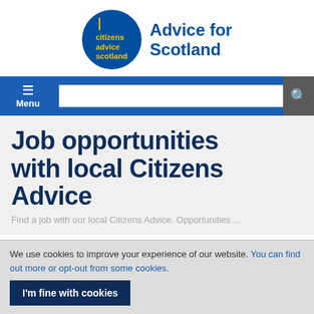[Figure (logo): Citizens Advice Scotland logo: blue circle with yellow 'citizens advice scotland' text and yellow bar, beside 'Advice for Scotland' text in blue]
Menu
Job opportunities with local Citizens Advice
Find a job with our local Citizens Advice. Opportunities and how to apply.
We use cookies to improve your experience of our website. You can find out more or opt-out from some cookies.
I'm fine with cookies